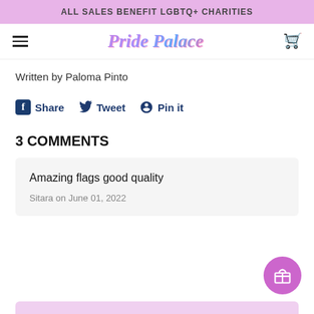ALL SALES BENEFIT LGBTQ+ CHARITIES
[Figure (logo): Pride Palace script logo with rainbow gradient colors and hamburger menu and cart icon navigation]
Written by Paloma Pinto
Share  Tweet  Pin it
3 COMMENTS
Amazing flags good quality
Sitara on June 01, 2022